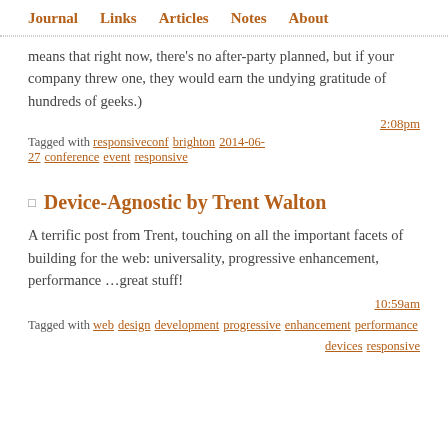Journal   Links   Articles   Notes   About
means that right now, there's no after-party planned, but if your company threw one, they would earn the undying gratitude of hundreds of geeks.)
2:08pm
Tagged with responsiveconf brighton 2014-06-27 conference event responsive
Device-Agnostic by Trent Walton
A terrific post from Trent, touching on all the important facets of building for the web: universality, progressive enhancement, performance …great stuff!
10:59am
Tagged with web design development progressive enhancement performance devices responsive